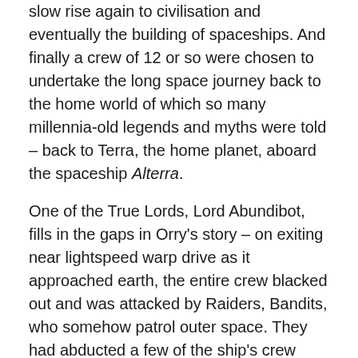slow rise again to civilisation and eventually the building of spaceships. And finally a crew of 12 or so were chosen to undertake the long space journey back to the home world of which so many millennia-old legends and myths were told – back to Terra, the home planet, aboard the spaceship Alterra.
One of the True Lords, Lord Abundibot, fills in the gaps in Orry's story – on exiting near lightspeed warp drive as it approached earth, the entire crew blacked out and was attacked by Raiders, Bandits, who somehow patrol outer space. They had abducted a few of the ship's crew when the Shing arrived, there was a firefight, the Bandits blew up the Alterra and one ship flew Ramarren down to the planet's surface where his mind was razed, while another Bandit ship bearing Orry was captured.